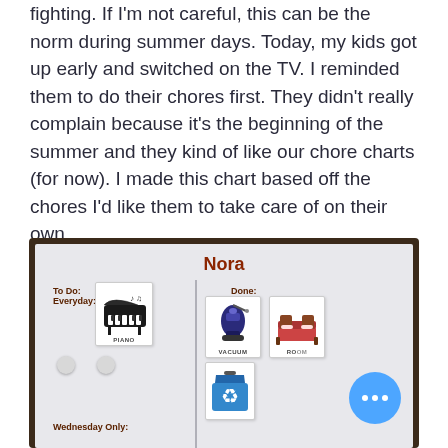fighting. If I'm not careful, this can be the norm during summer days. Today, my kids got up early and switched on the TV. I reminded them to do their chores first. They didn't really complain because it's the beginning of the summer and they kind of like our chore charts (for now). I made this chart based off the chores I'd like them to take care of on their own.
[Figure (photo): A photo of a chore chart board labeled 'Nora' with two sections: 'To Do: Everyday:' showing a piano card, and 'Done:' showing a vacuum card and a room card. A 'Wednesday Only:' section is visible at the bottom with a recycle bin icon. White circular magnets are on the board. A blue circular button with three dots overlays the bottom-right corner.]